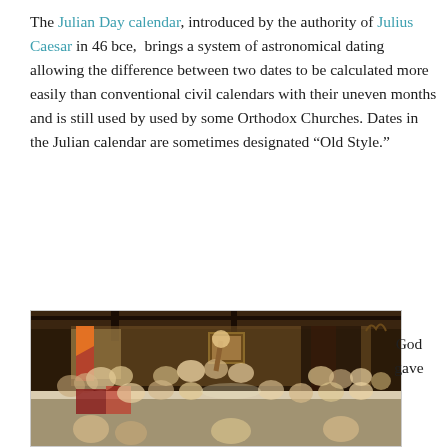The Julian Day calendar, introduced by the authority of Julius Caesar in 46 bce, brings a system of astronomical dating allowing the difference between two dates to be calculated more easily than conventional civil calendars with their uneven months and is still used by used by some Orthodox Churches. Dates in the Julian calendar are sometimes designated “Old Style.”
[Figure (photo): A historical painting depicting a crowded indoor banquet or election scene with many figures in 18th century dress gathered around tables in a tavern-like setting.]
God gave